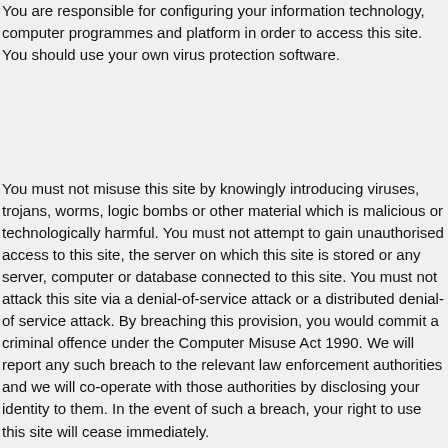You are responsible for configuring your information technology, computer programmes and platform in order to access this site. You should use your own virus protection software.
You must not misuse this site by knowingly introducing viruses, trojans, worms, logic bombs or other material which is malicious or technologically harmful. You must not attempt to gain unauthorised access to this site, the server on which this site is stored or any server, computer or database connected to this site. You must not attack this site via a denial-of-service attack or a distributed denial-of service attack. By breaching this provision, you would commit a criminal offence under the Computer Misuse Act 1990. We will report any such breach to the relevant law enforcement authorities and we will co-operate with those authorities by disclosing your identity to them. In the event of such a breach, your right to use this site will cease immediately.